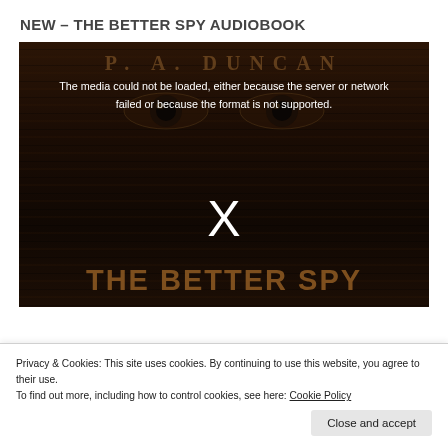NEW – THE BETTER SPY AUDIOBOOK
[Figure (screenshot): Dark book cover image for 'The Better Spy' by P.A. Duncan showing a pair of eyes against a dark wooden background. Overlaid with a media error message: 'The media could not be loaded, either because the server or network failed or because the format is not supported.' and a white X symbol. The book title 'THE BETTER SPY' appears in large brown letters at the bottom.]
Privacy & Cookies: This site uses cookies. By continuing to use this website, you agree to their use.
To find out more, including how to control cookies, see here: Cookie Policy
Close and accept